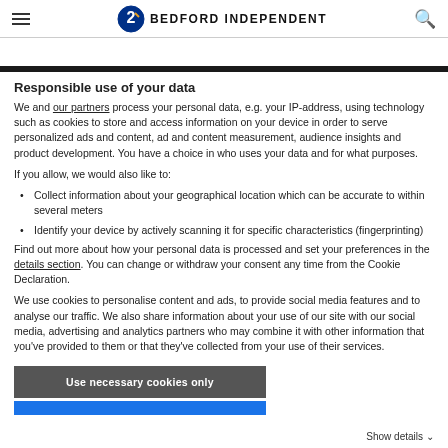Bedford Independent
Responsible use of your data
We and our partners process your personal data, e.g. your IP-address, using technology such as cookies to store and access information on your device in order to serve personalized ads and content, ad and content measurement, audience insights and product development. You have a choice in who uses your data and for what purposes.
If you allow, we would also like to:
Collect information about your geographical location which can be accurate to within several meters
Identify your device by actively scanning it for specific characteristics (fingerprinting)
Find out more about how your personal data is processed and set your preferences in the details section. You can change or withdraw your consent any time from the Cookie Declaration.
We use cookies to personalise content and ads, to provide social media features and to analyse our traffic. We also share information about your use of our site with our social media, advertising and analytics partners who may combine it with other information that you've provided to them or that they've collected from your use of their services.
Use necessary cookies only
Show details